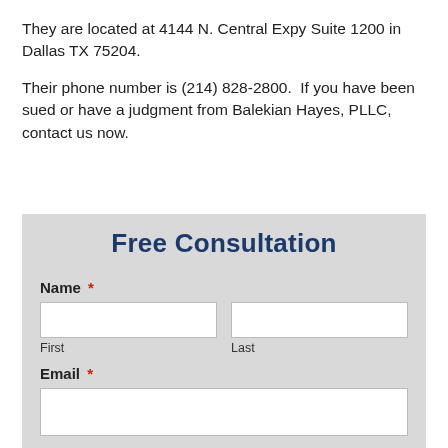They are located at 4144 N. Central Expy Suite 1200 in Dallas TX 75204.
Their phone number is (214) 828-2800.  If you have been sued or have a judgment from Balekian Hayes, PLLC, contact us now.
Free Consultation
Name *
First
Last
Email *
Phone *